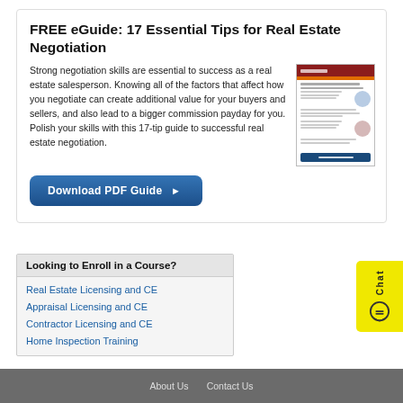FREE eGuide: 17 Essential Tips for Real Estate Negotiation
Strong negotiation skills are essential to success as a real estate salesperson. Knowing all of the factors that affect how you negotiate can create additional value for your buyers and sellers, and also lead to a bigger commission payday for you. Polish your skills with this 17-tip guide to successful real estate negotiation.
[Figure (illustration): Thumbnail preview of the 17 Essential Tips for Real Estate Negotiation eGuide PDF document]
Download PDF Guide ▶
Looking to Enroll in a Course?
Real Estate Licensing and CE
Appraisal Licensing and CE
Contractor Licensing and CE
Home Inspection Training
About Us   Contact Us